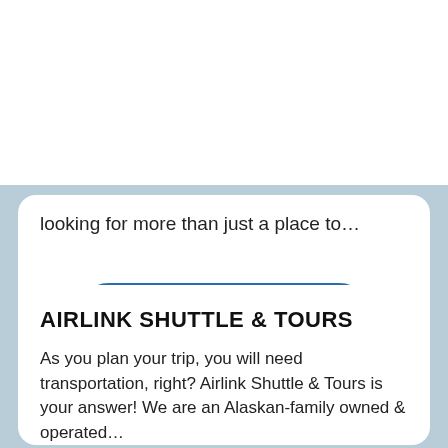[Figure (logo): Travel Alaska logo with mountain icon, decorative lines and 'TRAVEL' text above large 'ALASKA' text in blue]
[Figure (illustration): Hamburger menu icon with three horizontal dark blue bars]
looking for more than just a place to…
VISIT WEBSITE
AIRLINK SHUTTLE & TOURS
As you plan your trip, you will need transportation, right? Airlink Shuttle & Tours is your answer! We are an Alaskan-family owned & operated…